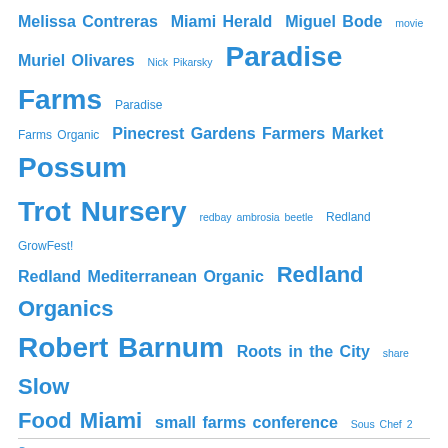[Figure (infographic): Tag cloud with terms related to local food, farming, and organizations in Miami/Redland area. Terms displayed in varying sizes and weights in blue color indicating frequency/importance. Largest terms: Possum Trot Nursery, Paradise Farms, Robert Barnum, Slow Food Miami, Redland Organics, Urban Oasis Project. Medium terms: small farms conference, Teena's Pride Farm, Teena Borek, Three Sisters Farm, UF/IFAS Cooperative Extension, Upper East Side Farmers Market, Worden Farm, Pinecrest Gardens Farmers Market, Redland Mediterranean Organic, Roots in the City, Whole Foods, Will Allen. Small terms: Melissa Contreras, Miami Herald, Miguel Bode, movie, Muriel Olivares, Nick Pikarsky, Paradise Farms Organic, redbay ambrosia beetle, Redland GrowFest!, share, Sous Chef 2 Go, Steven Green, Tim Rowan, UDB, zoning.]